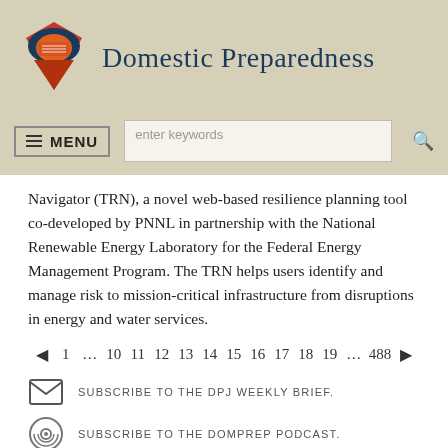Domestic Preparedness
Navigator (TRN), a novel web-based resilience planning tool co-developed by PNNL in partnership with the National Renewable Energy Laboratory for the Federal Energy Management Program. The TRN helps users identify and manage risk to mission-critical infrastructure from disruptions in energy and water services.
◄ 1 … 10 11 12 13 14 15 16 17 18 19 … 488 ►
SUBSCRIBE TO THE DPJ WEEKLY BRIEF.
SUBSCRIBE TO THE DOMPREP PODCAST.
FOLLOW DOMPREP ON TWITTER.